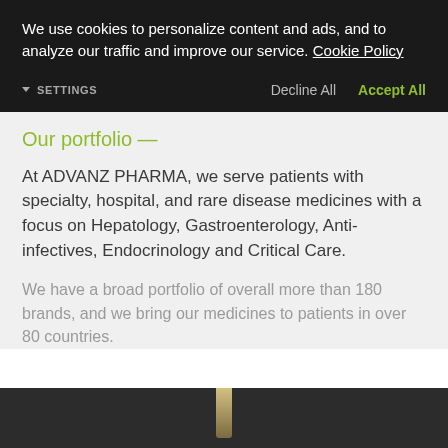We use cookies to personalize content and ads, and to analyze our traffic and improve our service. Cookie Policy
▼ SETTINGS   Decline All   Accept All
Our portfolio —
At ADVANZ PHARMA, we serve patients with specialty, hospital, and rare disease medicines with a focus on Hepatology, Gastroenterology, Anti-infectives, Endocrinology and Critical Care.
We have a broad portfolio of overall more than 180 brands, and we bring our medicines to patients in over 80 countries.
[Figure (photo): Dark background with a narrow vertical light/golden beam or highlight visible at the bottom of the page]